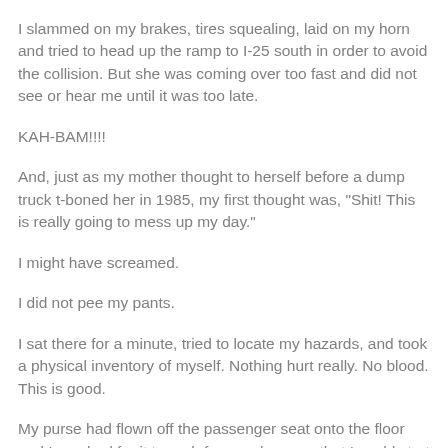I slammed on my brakes, tires squealing, laid on my horn and tried to head up the ramp to I-25 south in order to avoid the collision. But she was coming over too fast and did not see or hear me until it was too late.
KAH-BAM!!!!
And, just as my mother thought to herself before a dump truck t-boned her in 1985, my first thought was, "Shit! This is really going to mess up my day."
I might have screamed.
I did not pee my pants.
I sat there for a minute, tried to locate my hazards, and took a physical inventory of myself. Nothing hurt really. No blood. This is good.
My purse had flown off the passenger seat onto the floor and I reached for it to grab for my phone so that I could start